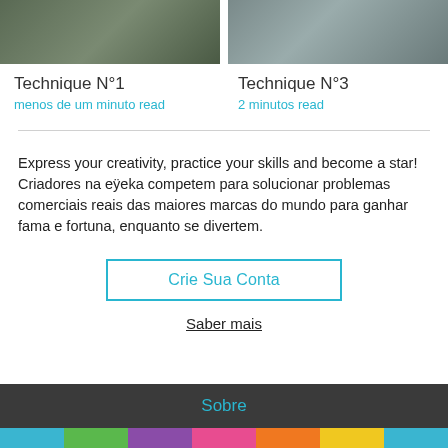[Figure (photo): Two thumbnail images side by side — left: dark greenish toned image, right: dark grey toned image of rocks/debris]
Technique N°1
menos de um minuto read
Technique N°3
2 minutos read
Express your creativity, practice your skills and become a star!
Criadores na eÿeka competem para solucionar problemas comerciais reais das maiores marcas do mundo para ganhar fama e fortuna, enquanto se divertem.
Crie Sua Conta
Saber mais
Sobre